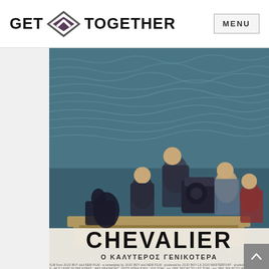GET TOGETHER  MENU
[Figure (photo): Movie poster for 'Chevalier' (O KAΛYTEPOΣ ΓENIKOTEPA) showing several men on a boat at sea, some shirtless, with the movie title in large text and Greek subtitle and small credits text at bottom.]